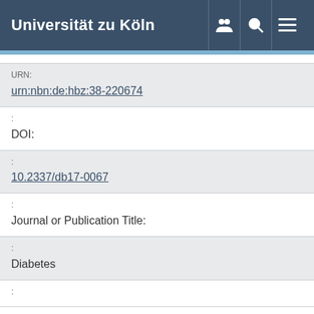Universität zu Köln
| URN: | urn:nbn:de:hbz:38-220674 |
| : | DOI: |
| : | 10.2337/db17-0067 |
| : | Journal or Publication Title: |
| : | Diabetes |
| : |  |